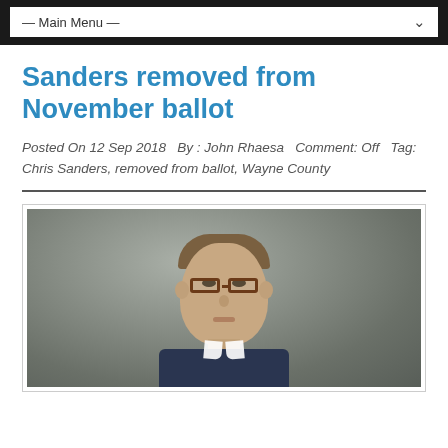— Main Menu —
Sanders removed from November ballot
Posted On 12 Sep 2018   By : John Rhaesa   Comment: Off   Tag: Chris Sanders, removed from ballot, Wayne County
[Figure (photo): Headshot photo of a man with glasses and brown hair, wearing a dark suit, against a gray background]